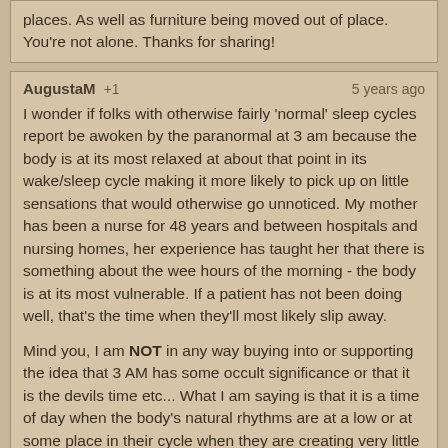places. As well as furniture being moved out of place. You're not alone. Thanks for sharing!
AugustaM +1   5 years ago

I wonder if folks with otherwise fairly 'normal' sleep cycles report be awoken by the paranormal at 3 am because the body is at its most relaxed at about that point in its wake/sleep cycle making it more likely to pick up on little sensations that would otherwise go unnoticed. My mother has been a nurse for 48 years and between hospitals and nursing homes, her experience has taught her that there is something about the wee hours of the morning - the body is at its most vulnerable. If a patient has not been doing well, that's the time when they'll most likely slip away.

Mind you, I am NOT in any way buying into or supporting the idea that 3 AM has some occult significance or that it is the devils time etc... What I am saying is that it is a time of day when the body's natural rhythms are at a low or at some place in their cycle when they are creating very little of their own energy of any kind making for less interference and more likelihood of tuning into or picking up on something possibly